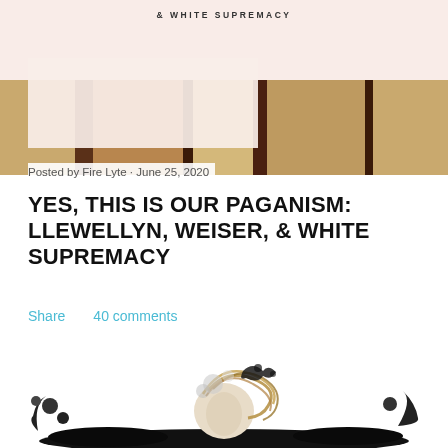[Figure (illustration): Top portion showing a book cover with pale pink/cream background and text '& WHITE SUPREMACY' in small caps, overlaid on a wooden background with dark vertical stripes]
Posted by Fire Lyte · June 25, 2020
YES, THIS IS OUR PAGANISM: LLEWELLYN, WEISER, & WHITE SUPREMACY
Share    40 comments
[Figure (illustration): Artistic black and white photo illustration of a person with flowing hair surrounded by dark ink splatter effects]